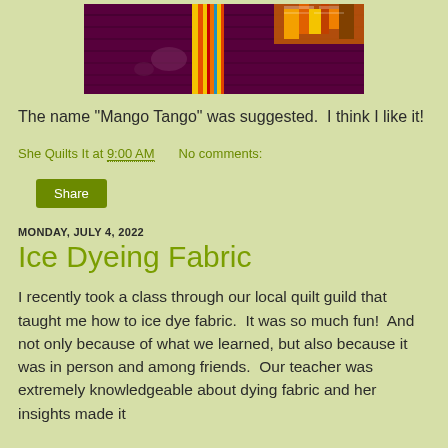[Figure (photo): A colorful quilt artwork with purple/maroon background and bright multicolored strips and patterns, resembling the 'Mango Tango' quilt.]
The name "Mango Tango" was suggested.  I think I like it!
She Quilts It at 9:00 AM    No comments:
Share
MONDAY, JULY 4, 2022
Ice Dyeing Fabric
I recently took a class through our local quilt guild that taught me how to ice dye fabric.  It was so much fun!  And not only because of what we learned, but also because it was in person and among friends.  Our teacher was extremely knowledgeable about dying fabric and her insights made it